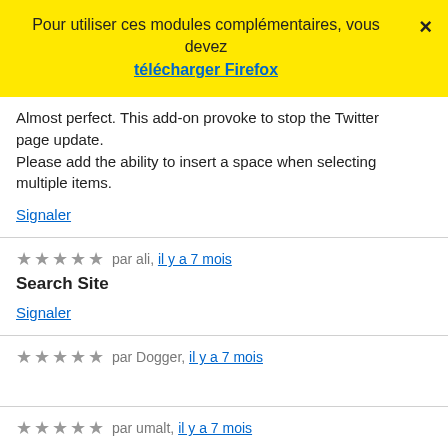Pour utiliser ces modules complémentaires, vous devez
télécharger Firefox
Almost perfect. This add-on provoke to stop the Twitter page update.
Please add the ability to insert a space when selecting multiple items.
Signaler
★★★★★ par ali, il y a 7 mois
Search Site
Signaler
★★★★★ par Dogger, il y a 7 mois
★★★★★ par umalt, il y a 7 mois